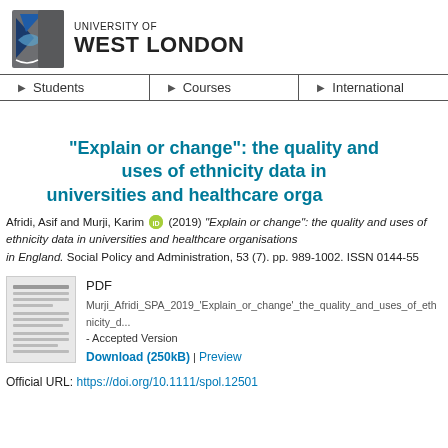[Figure (logo): University of West London logo with blue/grey shield icon and text 'UNIVERSITY OF WEST LONDON']
▶ Students | ▶ Courses | ▶ International
"Explain or change": the quality and uses of ethnicity data in universities and healthcare organisations in England
Afridi, Asif and Murji, Karim (2019) "Explain or change": the quality and uses of ethnicity data in universities and healthcare organisations in England. Social Policy and Administration, 53 (7). pp. 989-1002. ISSN 0144-5596
[Figure (screenshot): Thumbnail preview of PDF document]
PDF
Murji_Afridi_SPA_2019_'Explain_or_change'_the_quality_and_uses_of_ethnicity_d...
- Accepted Version
Download (250kB) | Preview
Official URL: https://doi.org/10.1111/spol.12501